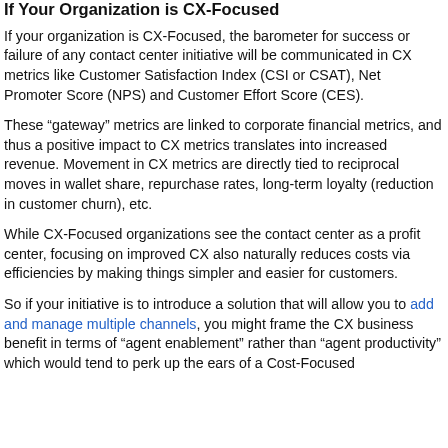If Your Organization is CX-Focused
If your organization is CX-Focused, the barometer for success or failure of any contact center initiative will be communicated in CX metrics like Customer Satisfaction Index (CSI or CSAT), Net Promoter Score (NPS) and Customer Effort Score (CES).
These “gateway” metrics are linked to corporate financial metrics, and thus a positive impact to CX metrics translates into increased revenue. Movement in CX metrics are directly tied to reciprocal moves in wallet share, repurchase rates, long-term loyalty (reduction in customer churn), etc.
While CX-Focused organizations see the contact center as a profit center, focusing on improved CX also naturally reduces costs via efficiencies by making things simpler and easier for customers.
So if your initiative is to introduce a solution that will allow you to add and manage multiple channels, you might frame the CX business benefit in terms of “agent enablement” rather than “agent productivity” which would tend to perk up the ears of a Cost-Focused